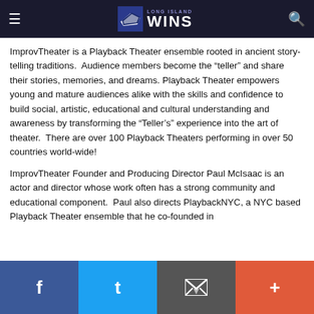Long Island Wins
ImprovTheater is a Playback Theater ensemble rooted in ancient story-telling traditions.  Audience members become the “teller” and share their stories, memories, and dreams.  Playback Theater empowers young and mature audiences alike with the skills and confidence to build social, artistic, educational and cultural understanding and awareness by transforming the “Teller’s” experience into the art of theater.  There are over 100 Playback Theaters performing in over 50 countries world-wide!
ImprovTheater Founder and Producing Director Paul McIsaac is an actor and director whose work often has a strong community and educational component.  Paul also directs PlaybackNYC, a NYC based Playback Theater ensemble that he co-founded in…
Facebook | Twitter | Email | More